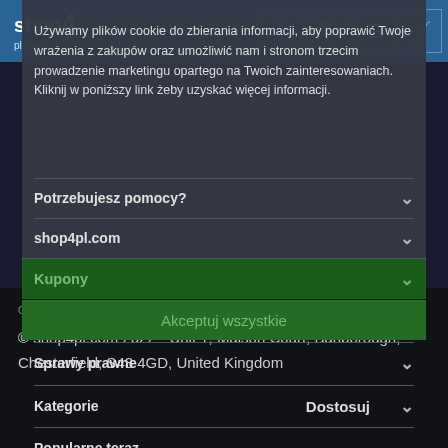shop4 pl.com — navigation bar with user, search, menu, cart icons
Używamy plików cookie do zbierania informacji, aby poprawić Twoje wrażenia z zakupów oraz umożliwić nam i stronom trzecim prowadzenie marketingu opartego na Twoich zainteresowaniach. Kliknij w poniższy link żeby uzyskać więcej informacji.
Potrzebujesz pomocy?
shop4pl.com
Kupony
Akceptuj wszystkie
Sprawy prawne
Kategorie  Dostosuj
Popularne teraz
Więcej informacji
Ta strona jest chroniona przez reCAPTCHA.
Obowiązują zasady Google Polityka prywatności i Warunki korzystania z usługi .
© shop4pl.com 2022 • Unit 1, Maison Court, Barlborough, Chesterfield, S43 4GD, United Kingdom